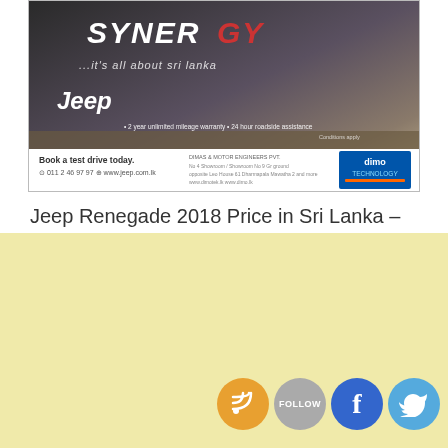[Figure (photo): Jeep advertisement banner showing a red Jeep Renegade SUV on dirt terrain with SYNERGY branding. Text includes tagline 'it's all about sri lanka', Jeep logo, '2 year unlimited mileage warranty • 24 hour roadside assistance', 'Book a test drive today.', phone and website contact details, and DIMO Technology logo.]
Jeep Renegade 2018 Price in Sri Lanka – Rs. 8.8 Million Upwards
[Figure (illustration): Light yellow rectangular advertisement/banner area (empty content area)]
[Figure (illustration): Social media icons row: RSS feed icon (orange circle), FOLLOW button (grey circle), Facebook icon (blue circle), Twitter bird icon (light blue circle)]